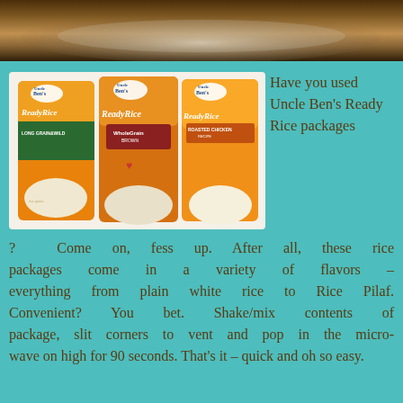[Figure (photo): Top portion of a cooking pan/pot viewed from above, with dark brown background]
[Figure (photo): Three Uncle Ben's Ready Rice packages: Long Grain & Wild, Whole Grain, and Roasted Chicken flavors]
Have you used Uncle Ben's Ready Rice packages? Come on, fess up. After all, these rice packages come in a variety of flavors – everything from plain white rice to Rice Pilaf. Convenient? You bet. Shake/mix contents of package, slit corners to vent and pop in the micro-wave on high for 90 seconds. That's it – quick and oh so easy.